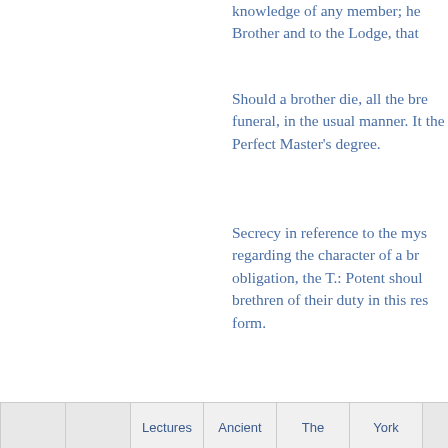knowledge of any member; he Brother and to the Lodge, that
Should a brother die, all the bre funeral, in the usual manner. It the Perfect Master's degree.
Secrecy in reference to the mys regarding the character of a br obligation, the T.: Potent shoul brethren of their duty in this res form.
It is the duty of every subordina to make annual returns to the S year; and its By-Laws, before b Deputy for the State for his app General of the Supreme Counc
In cases of expulsions, a vote o required.
|  |  | Lectures | Ancient | The | York |  |
| --- | --- | --- | --- | --- | --- | --- |